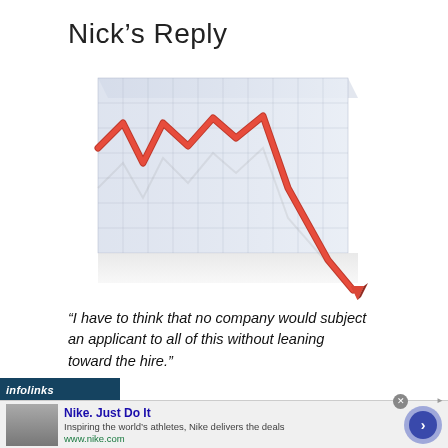Nick’s Reply
[Figure (line-chart): A 3D red declining line chart with a jagged downward trend that plunges off the bottom right, shown against a blue grid background. The arrow at the end points sharply downward, symbolizing a dramatic drop.]
“I have to think that no company would subject an applicant to all of this without leaning toward the hire.”
[Figure (infographic): Infolinks advertisement banner overlay at the bottom, with a Nike ad showing brand name, tagline, and website.]